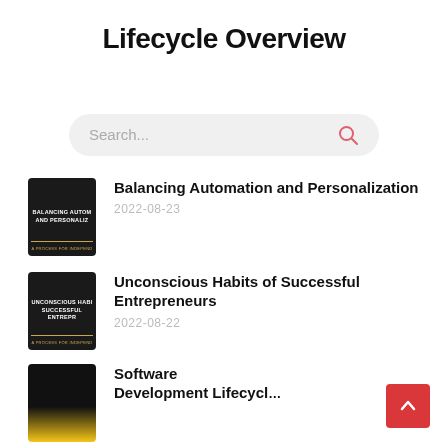Lifecycle Overview
Search...
Balancing Automation and Personalization
2022-08-23
Unconscious Habits of Successful Entrepreneurs
2022-08-22
Software Development Lifecycle...